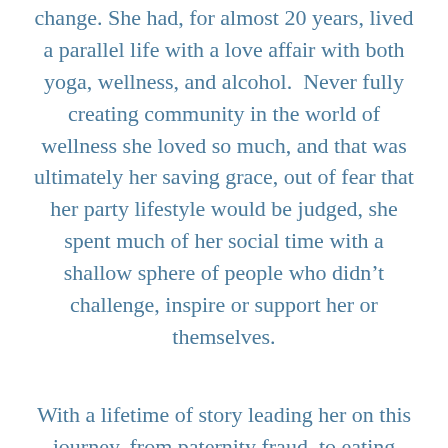change. She had, for almost 20 years, lived a parallel life with a love affair with both yoga, wellness, and alcohol.  Never fully creating community in the world of wellness she loved so much, and that was ultimately her saving grace, out of fear that her party lifestyle would be judged, she spent much of her social time with a shallow sphere of people who didn't challenge, inspire or support her or themselves.
With a lifetime of story leading her on this journey, from paternity fraud, to eating disorders to an undercover party girl lifestyle, today, she shares with you the